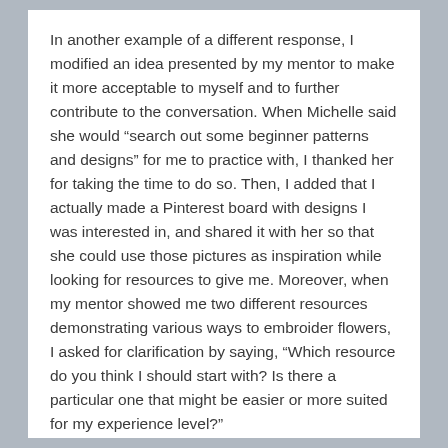In another example of a different response, I modified an idea presented by my mentor to make it more acceptable to myself and to further contribute to the conversation. When Michelle said she would “search out some beginner patterns and designs” for me to practice with, I thanked her for taking the time to do so. Then, I added that I actually made a Pinterest board with designs I was interested in, and shared it with her so that she could use those pictures as inspiration while looking for resources to give me. Moreover, when my mentor showed me two different resources demonstrating various ways to embroider flowers, I asked for clarification by saying, “Which resource do you think I should start with? Is there a particular one that might be easier or more suited for my experience level?”